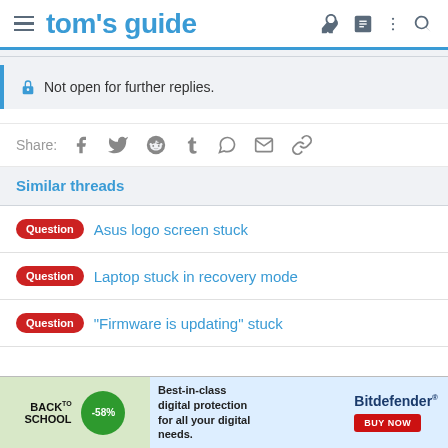tom's guide
Not open for further replies.
Share:
Similar threads
Question  Asus logo screen stuck
Question  Laptop stuck in recovery mode
Question  "Firmware is updating" stuck
[Figure (screenshot): Back to School advertisement banner for Bitdefender with -58% discount, best-in-class digital protection for all your digital needs, with BUY NOW button]